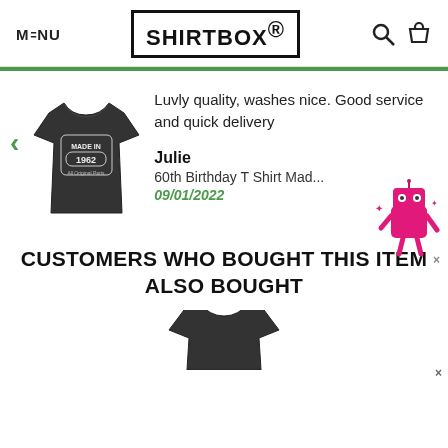MENU | SHIRTBOX® | [search icon] [cart icon]
[Figure (photo): Dark grey t-shirt with 'MADE IN 1962 All Original Parts' text graphic on front]
Luvly quality, washes nice. Good service and quick delivery
Julie
60th Birthday T Shirt Mad...
09/01/2022
[Figure (illustration): Pink cartoon robot widget in bottom-right corner with close X button]
CUSTOMERS WHO BOUGHT THIS ITEM ALSO BOUGHT
[Figure (photo): Partial view of a dark t-shirt at the bottom of the page]